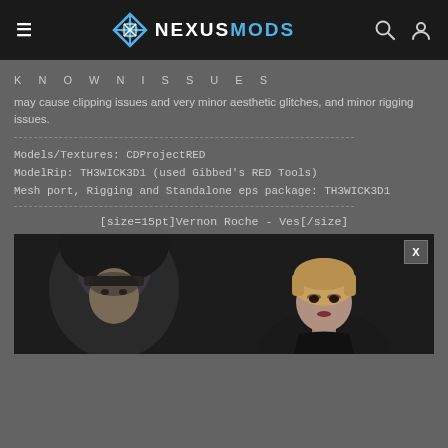≡  NEXUSMODS  🔍 👤
K N O W N I S S U E S
may cause clipping issues and very minor aesthetic glitches, and minor rigging issues.
Models/Textures: CDProjectRED
ModelRip: TH3WICK3D1 (used Gibbed's RED Tools)
Mesh port, Rigging and Standalone eps package: TH3WICK3D1
[size=15pt]Vernon Roche - Ves[/size]
[Figure (photo): Two character models shown: left is a dark-hooded male character (Vernon Roche), right is a short-haired female character (Ves), both from The Witcher game series. The images show only the upper bodies/heads of the characters with dark background.]